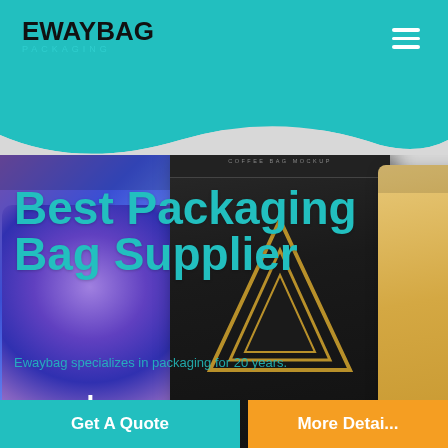[Figure (screenshot): EwayBag Packaging website screenshot showing teal header with logo and hamburger menu, product packaging bag mockups (blue/purple, black coffee bag, kraft bag), headline text 'Best Packaging Bag Supplier', tagline 'Ewaybag specializes in packaging for 20 years.', 'your logo' text, and two CTA buttons: 'Get A Quote' (teal) and 'More Deta...' (orange)]
EWAYBAG PACKAGING
Best Packaging Bag Supplier
Ewaybag specializes in packaging for 20 years.
your logo
Get A Quote
More Detai...